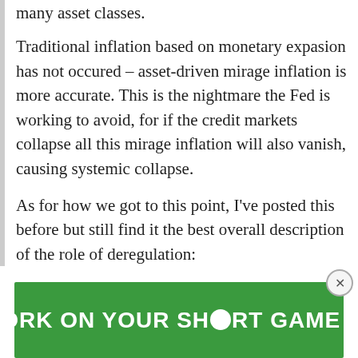many asset classes.
Traditional inflation based on monetary expasion has not occured – asset-driven mirage inflation is more accurate. This is the nightmare the Fed is working to avoid, for if the credit markets collapse all this mirage inflation will also vanish, causing systemic collapse.
As for how we got to this point, I've posted this before but still find it the best overall description of the role of deregulation: http://www.prospect.org/cs/articles?article=the_alarming_parallels_between_1929
[Figure (other): Green advertisement banner reading 'WORK ON YOUR SHORT GAME' with decorative circles, and a close button (X) in the top right corner.]